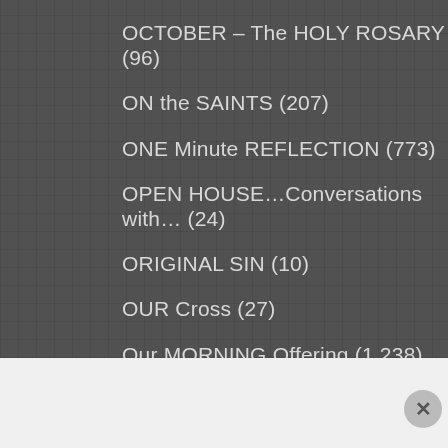OCTOBER – The HOLY ROSARY (96)
ON the SAINTS (207)
ONE Minute REFLECTION (773)
OPEN HOUSE…Conversations with… (24)
ORIGINAL SIN (10)
OUR Cross (27)
Our MORNING Offering (1,238)
PAPAL Apostolic EXHORTATIONS (13)
PAPAL APOSTOLIC LETTERS (3)
PAPAL DECREE (13)
PAPAL ENCYLICALS (66)
Advertisements
[Figure (infographic): Seamless pizza delivery advertisement banner with pizza image, Seamless logo in red, and ORDER NOW button]